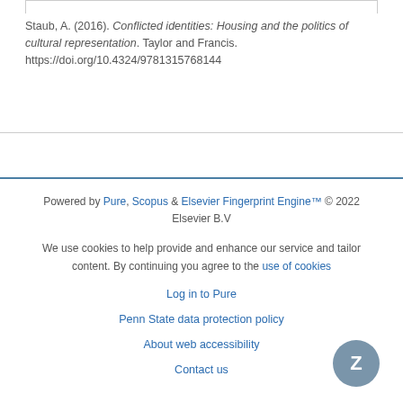Staub, A. (2016). Conflicted identities: Housing and the politics of cultural representation. Taylor and Francis. https://doi.org/10.4324/9781315768144
Powered by Pure, Scopus & Elsevier Fingerprint Engine™ © 2022 Elsevier B.V
We use cookies to help provide and enhance our service and tailor content. By continuing you agree to the use of cookies
Log in to Pure
Penn State data protection policy
About web accessibility
Contact us